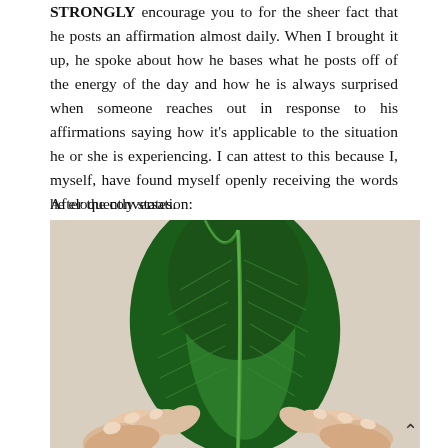STRONGLY encourage you to for the sheer fact that he posts an affirmation almost daily. When I brought it up, he spoke about how he bases what he posts off of the energy of the day and how he is always surprised when someone reaches out in response to his affirmations saying how it's applicable to the situation he or she is experiencing. I can attest to this because I, myself, have found myself openly receiving the words he eloquently states.
After the conversation:
[Figure (photo): Photograph of two hands holding up a large dark green tropical leaf (monstera or similar) against a light beige/cream background. The hands grip the base of the leaf from below, and the leaf fills most of the frame.]